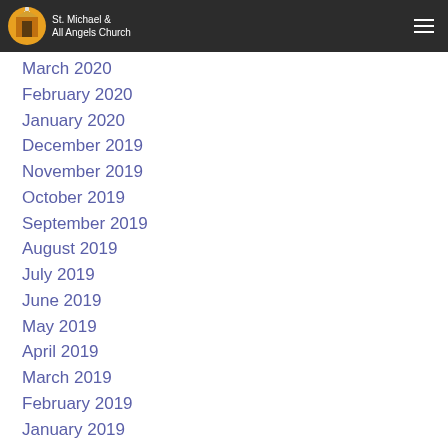St. Michael & All Angels Church
March 2020
February 2020
January 2020
December 2019
November 2019
October 2019
September 2019
August 2019
July 2019
June 2019
May 2019
April 2019
March 2019
February 2019
January 2019
December 2018
November 2018
October 2018
September 2018
August 2018
July 2018
June 2018